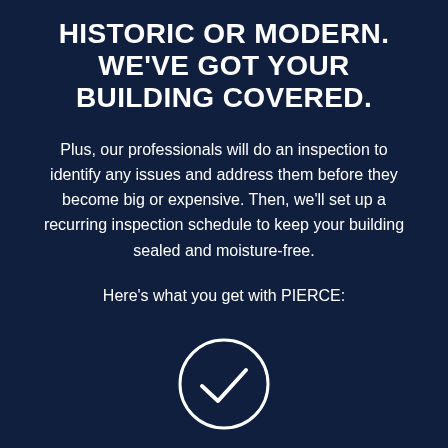HISTORIC OR MODERN. WE'VE GOT YOUR BUILDING COVERED.
Plus, our professionals will do an inspection to identify any issues and address them before they become big or expensive. Then, we'll set up a recurring inspection schedule to keep your building sealed and moisture-free.
Here's what you get with PIERCE:
[Figure (illustration): White circular checkmark icon on dark navy background]